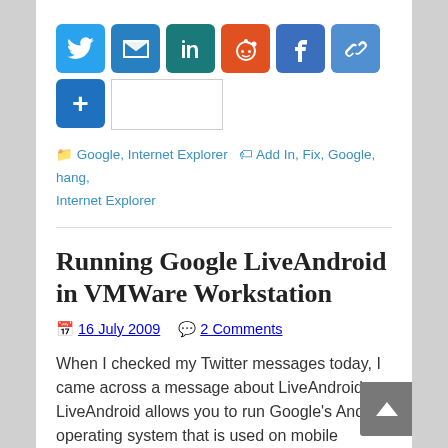[Figure (other): Social share buttons row: Twitter (blue), Email (blue), LinkedIn (teal), Reddit (orange), Facebook (blue), Link (blue), then More (+) button and a blank input field]
Google, Internet Explorer | Add In, Fix, Google, hang, Internet Explorer
Running Google LiveAndroid in VMWare Workstation
16 July 2009   2 Comments
When I checked my Twitter messages today, I came across a message about LiveAndroid. LiveAndroid allows you to run Google's Android operating system that is used on mobile phones on a x86 platform. First you need to download the LiveAndroid Read More